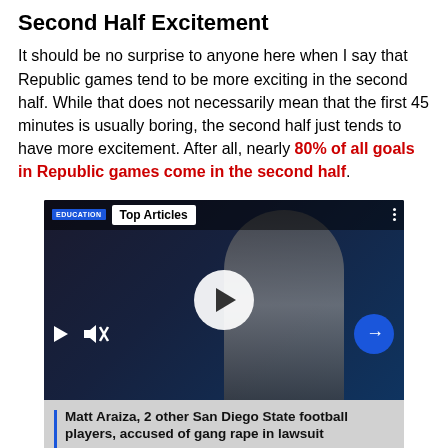Second Half Excitement
It should be no surprise to anyone here when I say that Republic games tend to be more exciting in the second half. While that does not necessarily mean that the first 45 minutes is usually boring, the second half just tends to have more excitement. After all, nearly 80% of all goals in Republic games come in the second half.
[Figure (screenshot): A video player screenshot showing a man in a white shirt against a dark background. The player shows a 'Top Articles' label with an EDUCATION tag. A large white play button circle is centered. Bottom controls show a small play arrow and mute icon on the left, and a blue arrow button on the right. Below the video, a caption reads 'Matt Araiza, 2 other San Diego State football players, accused of gang rape in lawsuit' with a blue left border bar.]